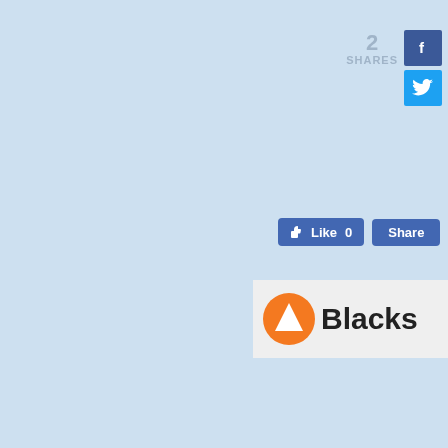[Figure (infographic): Social share count showing '2 SHARES' with Facebook and Twitter icons]
[Figure (infographic): Facebook Like button with count 0 and Share button]
[Figure (logo): Blacks brand logo with orange circle arrow icon and 'Blacks' text in bold]
lacksDisc